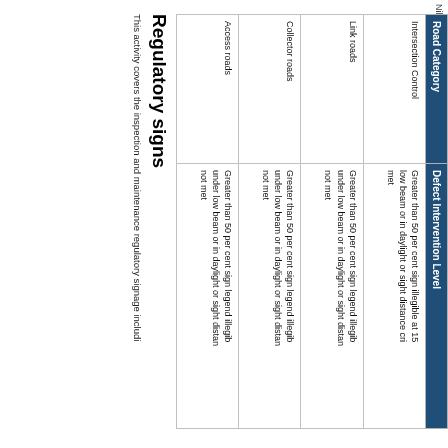Nillumbik Shire Council - Road Management
Regulatory signs
This activity covers the inspection and maintenance regulatory signage including
| Road Category | Defect Intervention Level |
| --- | --- |
| Intersection Control | Greater than 50 per cent sign illegible at 150 under low beam or in daylight or sight distance criteria not met |
| Link roads | Greater than 50 per cent sign legend illegible under low beam or in daylight or sight distance not met |
| Collector roads | Greater than 50 per cent sign legend illegible under low beam or in daylight or sight distance not met |
| Access roads | Greater than 50 per cent sign legend illegible under low beam or in daylight or sight distance not met |